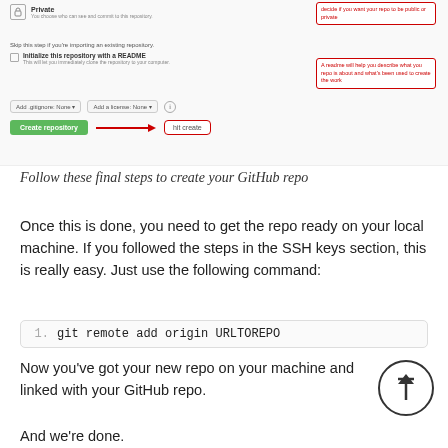[Figure (screenshot): GitHub repository creation form screenshot showing Private radio option, Initialize with README checkbox, Add .gitignore and license dropdowns, and Create repository button with red annotation boxes and arrow]
Follow these final steps to create your GitHub repo
Once this is done, you need to get the repo ready on your local machine. If you followed the steps in the SSH keys section, this is really easy. Just use the following command:
Now you’ve got your new repo on your machine and linked with your GitHub repo.
And we’re done.